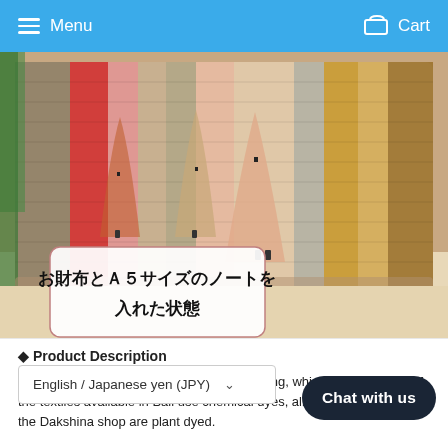Menu  Cart
[Figure (photo): Woven fabric bag/clutch in colorful stripes (red, pink, tan, yellow, grey) with decorative patterns, placed on a wooden surface with a white overlay label in Japanese]
お財布とＡ５サイズのノートを入れた状態
◆ Product Description
We use the traditional woven fabric Lang Lang, which is from Nusa Pen... of the textiles available in Bali use chemical dyes, all the orchids sold at the Dakshina shop are plant dyed.
English / Japanese yen (JPY) ∨
Chat with us